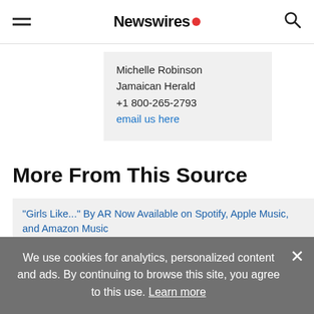Newswires
Michelle Robinson
Jamaican Herald
+1 800-265-2793
email us here
More From This Source
"Girls Like..." By AR Now Available on Spotify, Apple Music, and Amazon Music
Mount Vernon Hip Hop Artist Aliesha "AR" Gibbs Releases "Welcome To The Jungle" Exclusively on Apple Music
We use cookies for analytics, personalized content and ads. By continuing to browse this site, you agree to this use. Learn more